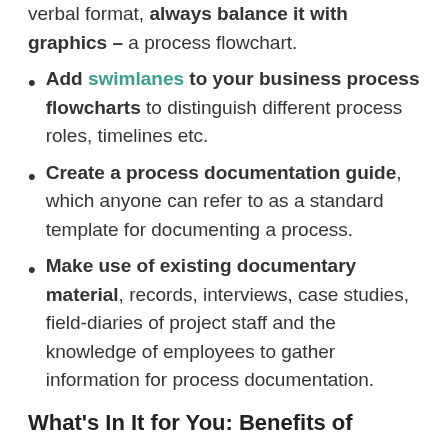verbal format, always balance it with graphics – a process flowchart.
Add swimlanes to your business process flowcharts to distinguish different process roles, timelines etc.
Create a process documentation guide, which anyone can refer to as a standard template for documenting a process.
Make use of existing documentary material, records, interviews, case studies, field-diaries of project staff and the knowledge of employees to gather information for process documentation.
What's In It for You: Benefits of